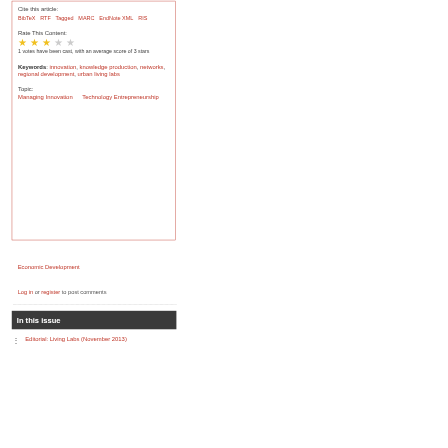Cite this article:
BibTeX   RTF   Tagged   MARC   EndNote XML   RIS
Rate This Content:
[Figure (other): Star rating widget showing 3 out of 5 stars (3 filled yellow, 2 empty grey)]
1 votes have been cast, with an average score of 3 stars
Keywords: innovation, knowledge production, networks, regional development, urban living labs
Topic:
Managing Innovation    Technology Entrepreneurship   Economic Development
Log in or register to post comments
In this issue
Editorial: Living Labs (November 2013)